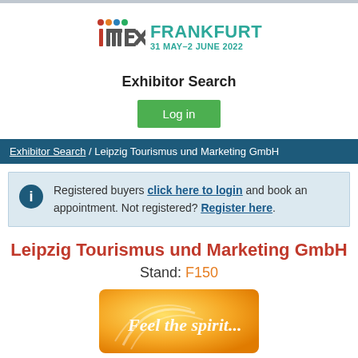[Figure (logo): IMEX Frankfurt 31 May-2 June 2022 logo with colorful dot icons]
Exhibitor Search
[Figure (other): Green Log in button]
Exhibitor Search / Leipzig Tourismus und Marketing GmbH
Registered buyers click here to login and book an appointment. Not registered? Register here.
Leipzig Tourismus und Marketing GmbH
Stand: F150
[Figure (photo): Yellow promotional image with text 'Feel the spirit...']